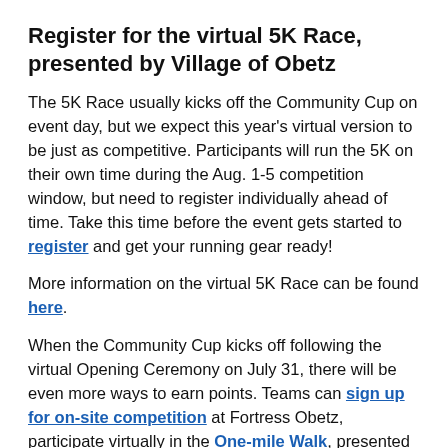Register for the virtual 5K Race, presented by Village of Obetz
The 5K Race usually kicks off the Community Cup on event day, but we expect this year's virtual version to be just as competitive. Participants will run the 5K on their own time during the Aug. 1-5 competition window, but need to register individually ahead of time. Take this time before the event gets started to register and get your running gear ready!
More information on the virtual 5K Race can be found here.
When the Community Cup kicks off following the virtual Opening Ceremony on July 31, there will be even more ways to earn points. Teams can sign up for on-site competition at Fortress Obetz, participate virtually in the One-mile Walk, presented by AEP Ohio, and even show their excitement with the new Spirit of Sports social media opportunity. You can learn more about these